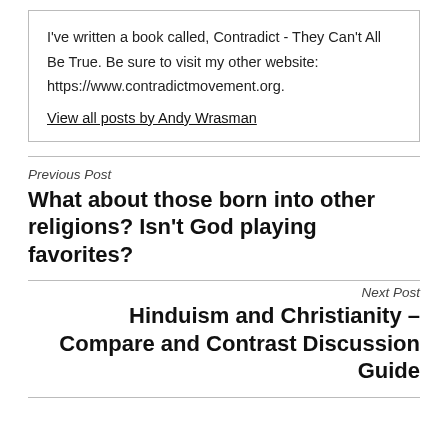I've written a book called, Contradict - They Can't All Be True. Be sure to visit my other website: https://www.contradictmovement.org.
View all posts by Andy Wrasman
Previous Post
What about those born into other religions? Isn't God playing favorites?
Next Post
Hinduism and Christianity – Compare and Contrast Discussion Guide